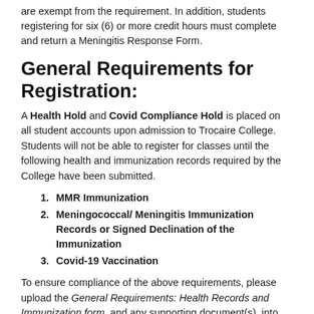are exempt from the requirement. In addition, students registering for six (6) or more credit hours must complete and return a Meningitis Response Form.
General Requirements for Registration:
A Health Hold and Covid Compliance Hold is placed on all student accounts upon admission to Trocaire College. Students will not be able to register for classes until the following health and immunization records required by the College have been submitted.
MMR Immunization
Meningococcal/ Meningitis Immunization Records or Signed Declination of the Immunization
Covid-19 Vaccination
To ensure compliance of the above requirements, please upload the General Requirements: Health Records and Immunization form, and any supporting document(s), into CastleBranch.
Immunization Requirements for Students in Health Professions: